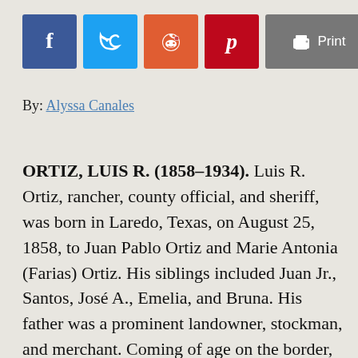[Figure (other): Social sharing buttons: Facebook (blue), Twitter (light blue), Reddit (orange-red), Pinterest (dark red), and a Print button (gray)]
By: Alyssa Canales
ORTIZ, LUIS R. (1858–1934). Luis R. Ortiz, rancher, county official, and sheriff, was born in Laredo, Texas, on August 25, 1858, to Juan Pablo Ortiz and Marie Antonia (Farias) Ortiz. His siblings included Juan Jr., Santos, José A., Emelia, and Bruna. His father was a prominent landowner, stockman, and merchant. Coming of age on the border, Luis spent much of his time on the sheep ranch with his father. He was educated at St. Mary's College, San Antonio; a Jesuit college in Mobile, Alabama; Fordham College